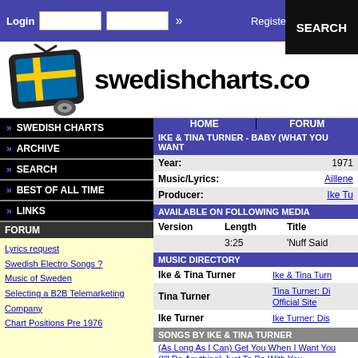Login | Register | SEARCH
[Figure (logo): Swedishcharts.com logo with Swedish flag TV icon]
swedishcharts.co
HOME | FORUM
SWEDISH CHARTS
ARCHIVE
SEARCH
BEST OF ALL TIME
LINKS
FORUM
Lyrics request
Swedish Electro Songs ?
Music of Sweden
Selecting a B2B Telemarketing Company
Chart Positions Pre 1976
IKE & TINA TURNER - BABY (WHAT YOU WANT
| Field | Value |
| --- | --- |
| Year: | 1971 |
| Music/Lyrics: | Aillene |
| Producer: | Ike Tu |
AVAILABLE ON FOLLOWING MEDIA
| Version | Length | Title |
| --- | --- | --- |
|  | 3:25 | 'Nuff Said |
MUSIC DIRECTORY
| Artist | Link |
| --- | --- |
| Ike & Tina Turner | Ike & Tina Turn |
| Tina Turner | Tina Turner: Di Official Site |
| Ike Turner | Ike Turner: Dis |
SONGS BY IKE & TINA TURNER
(As Long As I Can) Get You When I Want You
(I'll Do Anything) Just To Be With You
(You've Got To) Put Something Into It